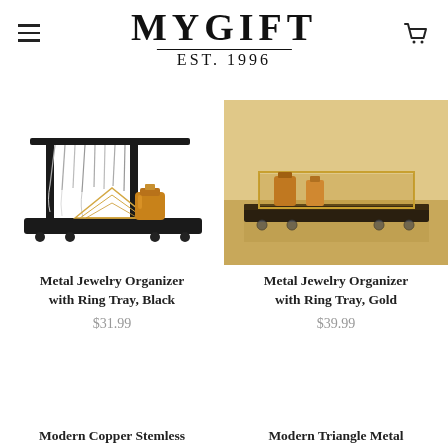MYGIFT EST. 1996
[Figure (photo): Metal Jewelry Organizer with Ring Tray, Black — black metal organizer with hanging jewelry and golden perfume bottle on tray]
Metal Jewelry Organizer with Ring Tray, Black
$31.99
[Figure (photo): Metal Jewelry Organizer with Ring Tray, Gold — gold-toned organizer tray on wheels on wooden surface]
Metal Jewelry Organizer with Ring Tray, Gold
$39.99
Modern Copper Stemless
Modern Triangle Metal